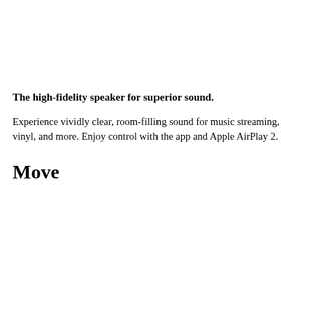The high-fidelity speaker for superior sound.
Experience vividly clear, room-filling sound for music streaming, vinyl, and more. Enjoy control with the app and Apple AirPlay 2.
Move